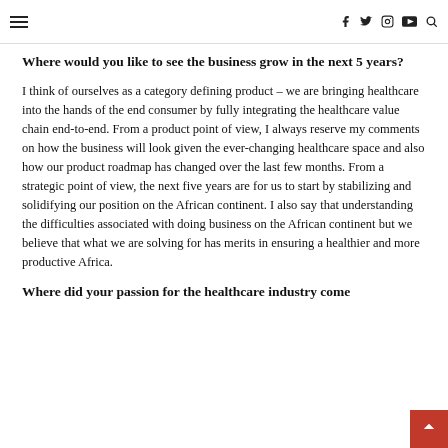≡  f  t  ◎  ▶  🔍
Where would you like to see the business grow in the next 5 years?
I think of ourselves as a category defining product – we are bringing healthcare into the hands of the end consumer by fully integrating the healthcare value chain end-to-end. From a product point of view, I always reserve my comments on how the business will look given the ever-changing healthcare space and also how our product roadmap has changed over the last few months. From a strategic point of view, the next five years are for us to start by stabilizing and solidifying our position on the African continent. I also say that understanding the difficulties associated with doing business on the African continent but we believe that what we are solving for has merits in ensuring a healthier and more productive Africa.
Where did your passion for the healthcare industry come from?